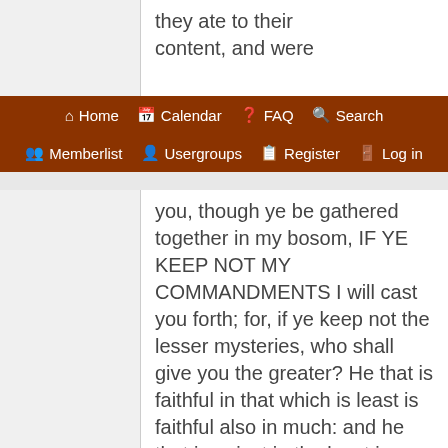they ate to their content, and were
Home  Calendar  FAQ  Search  Memberlist  Usergroups  Register  Log in
you, though ye be gathered together in my bosom, IF YE KEEP NOT MY COMMANDMENTS I will cast you forth; for, if ye keep not the lesser mysteries, who shall give you the greater? He that is faithful in that which is least is faithful also in much: and he that is unjust in the least is unjust also in much."

So, according to Yashaya